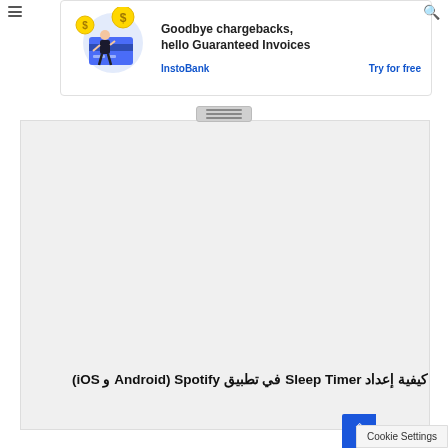[Figure (screenshot): Advertisement banner for InstoBank showing 'Goodbye chargebacks, hello Guaranteed Invoices' with illustration of person with credit card, InstoBank link and Try for free link]
[Figure (screenshot): Gray content area representing a webpage screenshot/embedded content placeholder]
كيفية إعداد Sleep Timer في تطبيق Spotify (Android و iOS)